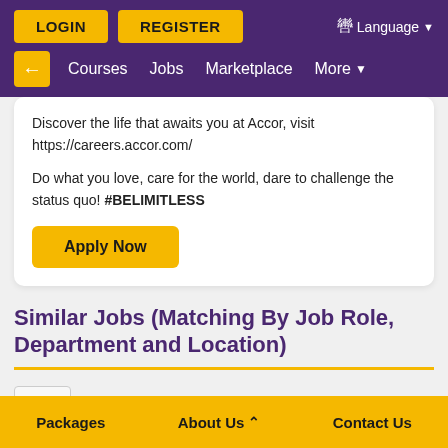LOGIN  REGISTER  Language
← Courses  Jobs  Marketplace  More
Discover the life that awaits you at Accor, visit https://careers.accor.com/

Do what you love, care for the world, dare to challenge the status quo! #BELIMITLESS
Apply Now
Similar Jobs (Matching By Job Role, Department and Location)
Executive Chef
Packages  About Us  Contact Us